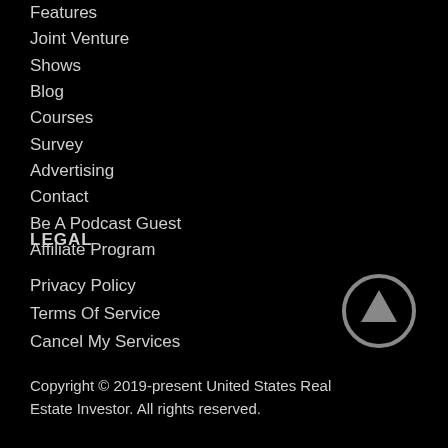Features
Joint Venture
Shows
Blog
Courses
Survey
Advertising
Contact
Be A Podcast Guest
Affiliate Program
LEGAL
Privacy Policy
Terms Of Service
Cancel My Services
[Figure (illustration): Circular up arrow button icon, gray outline on black background]
Copyright © 2019-present United States Real Estate Investor. All rights reserved.